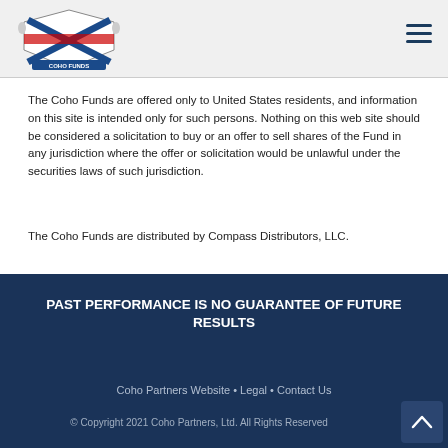[Figure (logo): Coho Funds logo: shield with blue X cross and two figures, banner reading COHO FUNDS]
The Coho Funds are offered only to United States residents, and information on this site is intended only for such persons. Nothing on this web site should be considered a solicitation to buy or an offer to sell shares of the Fund in any jurisdiction where the offer or solicitation would be unlawful under the securities laws of such jurisdiction.
The Coho Funds are distributed by Compass Distributors, LLC.
PAST PERFORMANCE IS NO GUARANTEE OF FUTURE RESULTS
Coho Partners Website • Legal • Contact Us
© Copyright 2021 Coho Partners, Ltd. All Rights Reserved